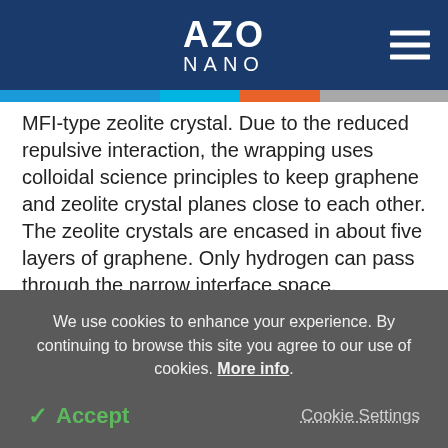AZO NANO
MFI-type zeolite crystal. Due to the reduced repulsive interaction, the wrapping uses colloidal science principles to keep graphene and zeolite crystal planes close to each other. The zeolite crystals are encased in about five layers of graphene. Only hydrogen can pass through the narrow interface space.
The structure of the zeolite crystal cannot be seen because graphene is also present in the hydrophobic
We use cookies to enhance your experience. By continuing to browse this site you agree to our use of cookies. More info.
✓ Accept
Cookie Settings